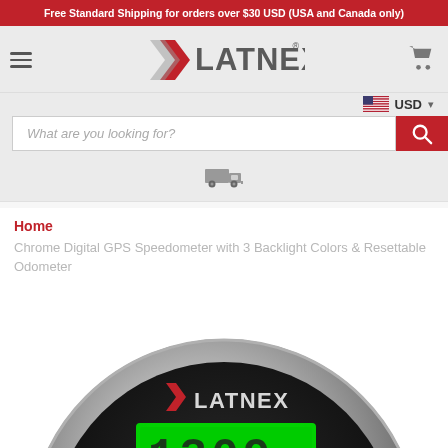Free Standard Shipping for orders over $30 USD (USA and Canada only)
[Figure (logo): LATNEX brand logo with red chevron arrow icon and grey text]
What are you looking for?
[Figure (illustration): Small shipping truck icon]
Home
Chrome Digital GPS Speedometer with 3 Backlight Colors & Resettable Odometer
[Figure (photo): Chrome circular digital GPS speedometer with LATNEX logo, showing green digital display with numbers on black background]